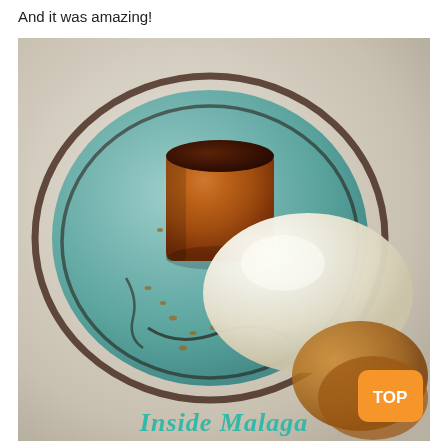And it was amazing!
[Figure (photo): A plated dessert on a teal plate with a cylindrical baked pudding/cake, a scoop of vanilla ice cream, chocolate sauce swirls, crushed nuts, and biscuit crumble. An orange 'TOP' button appears in the lower right corner. A watermark reading 'Inside Malaga' is visible at the bottom.]